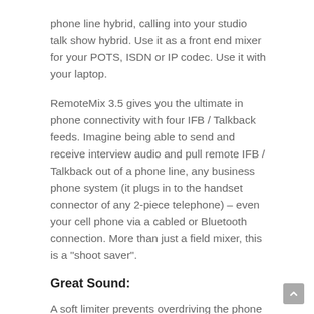phone line hybrid, calling into your studio talk show hybrid. Use it as a front end mixer for your POTS, ISDN or IP codec. Use it with your laptop.
RemoteMix 3.5 gives you the ultimate in phone connectivity with four IFB / Talkback feeds. Imagine being able to send and receive interview audio and pull remote IFB / Talkback out of a phone line, any business phone system (it plugs in to the handset connector of any 2-piece telephone) – even your cell phone via a cabled or Bluetooth connection. More than just a field mixer, this is a "shoot saver".
Great Sound:
A soft limiter prevents overdriving the phone line interfaces, while the mixer XLR output is pre-limited (full range). Bass Boost adds some low end before sending the signal down the phone line. Convenient 3.5 mm send and receive jacks are